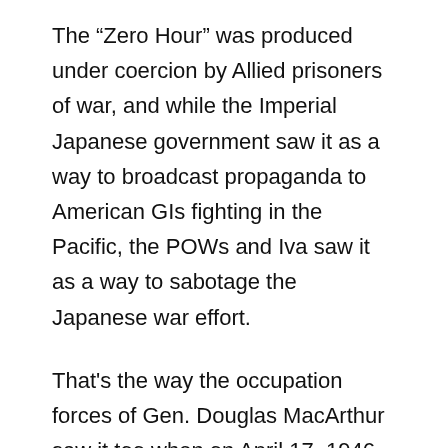The “Zero Hour” was produced under coercion by Allied prisoners of war, and while the Imperial Japanese government saw it as a way to broadcast propaganda to American GIs fighting in the Pacific, the POWs and Iva saw it as a way to sabotage the Japanese war effort.
That's the way the occupation forces of Gen. Douglas MacArthur saw it too when on April 17, 1946, following 11 months of Iva’s incarceration in Tokyo’s Sugamo prison along with such Class A Japanese war criminals as former Prime Minister Hideki Tojo, the U.S. Army Legal Section issued the following report: